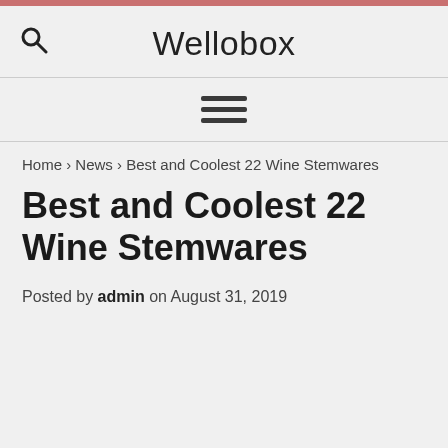Wellobox
Home › News › Best and Coolest 22 Wine Stemwares
Best and Coolest 22 Wine Stemwares
Posted by admin on August 31, 2019